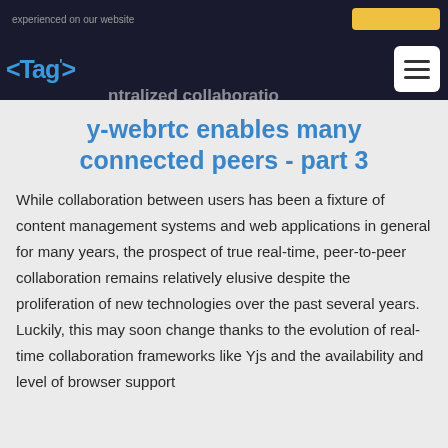experienced on our website
<Tag/> Decentralized collaboration with Yjs and WebRTC: How
y-webrtc enables many connected peers - part 3
While collaboration between users has been a fixture of content management systems and web applications in general for many years, the prospect of true real-time, peer-to-peer collaboration remains relatively elusive despite the proliferation of new technologies over the past several years. Luckily, this may soon change thanks to the evolution of real-time collaboration frameworks like Yjs and the availability and level of browser support